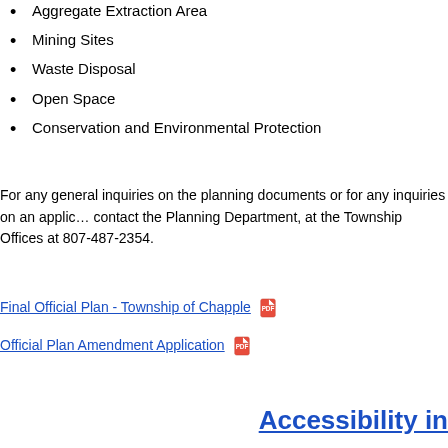Aggregate Extraction Area
Mining Sites
Waste Disposal
Open Space
Conservation and Environmental Protection
For any general inquiries on the planning documents or for any inquiries on an application, contact the Planning Department, at the Township Offices at 807-487-2354.
Final Official Plan - Township of Chapple [PDF icon]
Official Plan Amendment Application [PDF icon]
Accessibility in